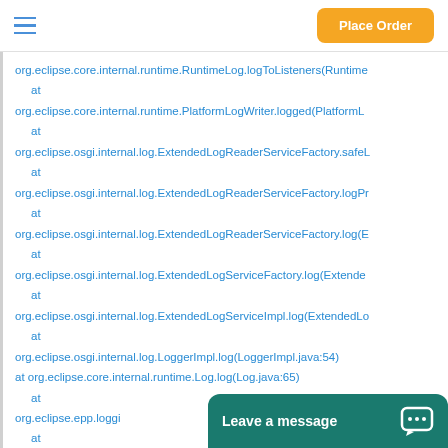Place Order
org.eclipse.core.internal.runtime.RuntimeLog.logToListeners(Runtime
at
org.eclipse.core.internal.runtime.PlatformLogWriter.logged(PlatformL
at
org.eclipse.osgi.internal.log.ExtendedLogReaderServiceFactory.safeL
at
org.eclipse.osgi.internal.log.ExtendedLogReaderServiceFactory.logPr
at
org.eclipse.osgi.internal.log.ExtendedLogReaderServiceFactory.log(E
at
org.eclipse.osgi.internal.log.ExtendedLogServiceFactory.log(Extende
at
org.eclipse.osgi.internal.log.ExtendedLogServiceImpl.log(ExtendedLo
at
org.eclipse.osgi.internal.log.LoggerImpl.log(LoggerImpl.java:54)
at org.eclipse.core.internal.runtime.Log.log(Log.java:65)
at
org.eclipse.epp.loggi
at
org.eclipse.app.loggi